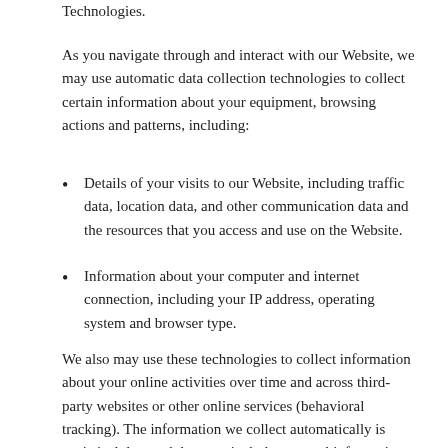Technologies.
As you navigate through and interact with our Website, we may use automatic data collection technologies to collect certain information about your equipment, browsing actions and patterns, including:
Details of your visits to our Website, including traffic data, location data, and other communication data and the resources that you access and use on the Website.
Information about your computer and internet connection, including your IP address, operating system and browser type.
We also may use these technologies to collect information about your online activities over time and across third-party websites or other online services (behavioral tracking). The information we collect automatically is statistical data and does not include personal information, but we may maintain it or associate it with